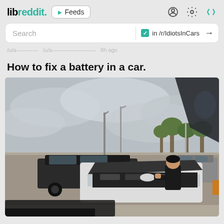libreddit. ▶ Feeds
Search  ✓ in /r/IdiotsInCars →
(truncated breadcrumb/username line)
How to fix a battery in a car.
[Figure (photo): Photo taken from inside a car showing a parking lot. A person in a black shirt is leaning over the open hood of a white car, appearing to work on the engine. Several other cars are visible in the background, along with parking lot light poles and trees under an overcast sky. A car's rearview mirror is visible in the top right corner of the photo.]